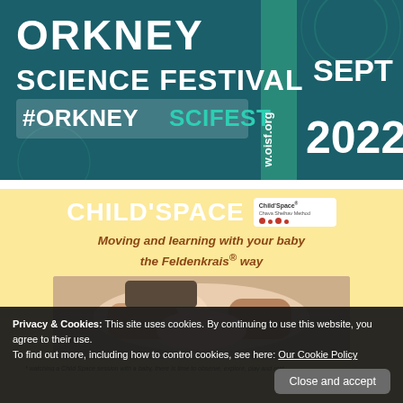[Figure (screenshot): Orkney Science Festival banner with teal/dark blue background. Text reads: ORKNEY SCIENCE FESTIVAL #ORKNEYSCIFEST, www.oisf.org, SEPT 2022]
CHILD'SPACE
[Figure (logo): Child'Space Chava Shelhav Method logo with red dots]
Moving and learning with your baby the Feldenkrais® way
[Figure (photo): Photo of adult hands holding a newborn baby]
* watching a Child Space session with a baby, there is time to observe, explore, play and rest.
Privacy & Cookies: This site uses cookies. By continuing to use this website, you agree to their use.
To find out more, including how to control cookies, see here: Our Cookie Policy